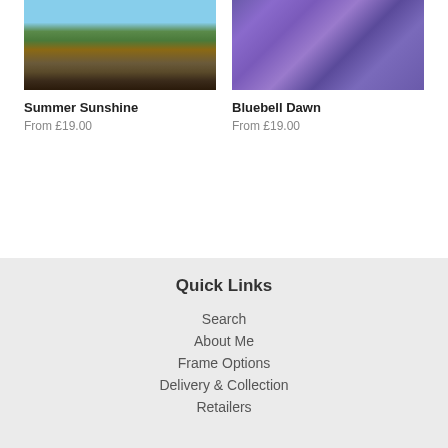[Figure (photo): Photo of a red train on railway tracks with green fields and industrial structures in background - Summer Sunshine]
[Figure (photo): Photo of bluebells or purple flowers in a field - Bluebell Dawn]
Summer Sunshine
From £19.00
Bluebell Dawn
From £19.00
Quick Links
Search
About Me
Frame Options
Delivery & Collection
Retailers